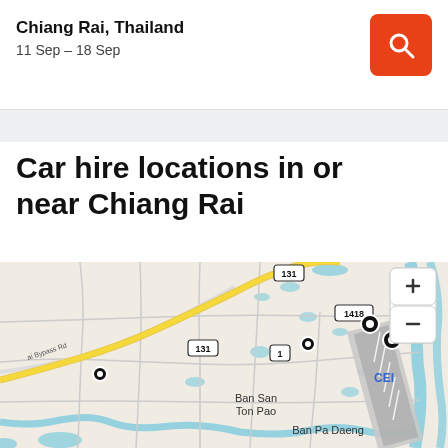Chiang Rai, Thailand
11 Sep – 18 Sep
Car hire locations in or near Chiang Rai
[Figure (map): Map of Chiang Rai, Thailand showing car hire locations. Roads labeled 131, 1418, and 1 are visible. Road 131 runs diagonally (yellow highway). Locations include Ban San Ton Pao and Ban Pa Daeng. Several black dot markers indicate car hire locations. An airport runway is visible on the right. A label 'CEI' appears near the airport. Zoom controls (+/-) are in the top right corner. A road labeled 'Jai Bypass Rd' is on the left side.]